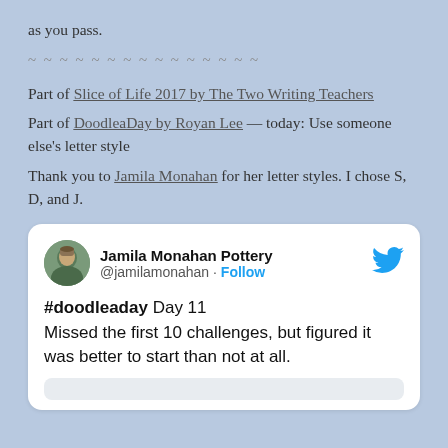as you pass.
~ ~ ~ ~ ~ ~ ~ ~ ~ ~ ~ ~ ~ ~ ~
Part of Slice of Life 2017 by The Two Writing Teachers
Part of DoodleaDay by Royan Lee — today: Use someone else's letter style
Thank you to Jamila Monahan for her letter styles. I chose S, D, and J.
[Figure (screenshot): Embedded tweet from Jamila Monahan Pottery (@jamilamonahan) with text: '#doodleaday Day 11 Missed the first 10 challenges, but figured it was better to start than not at all.']